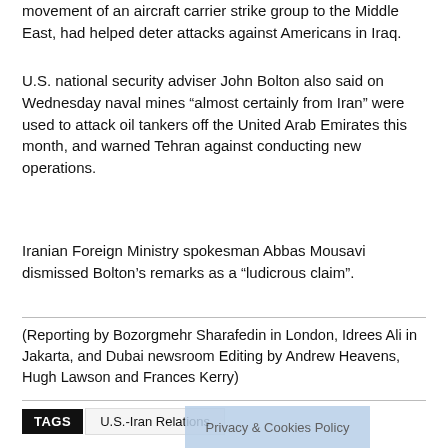movement of an aircraft carrier strike group to the Middle East, had helped deter attacks against Americans in Iraq.
U.S. national security adviser John Bolton also said on Wednesday naval mines “almost certainly from Iran” were used to attack oil tankers off the United Arab Emirates this month, and warned Tehran against conducting new operations.
Iranian Foreign Ministry spokesman Abbas Mousavi dismissed Bolton’s remarks as a “ludicrous claim”.
(Reporting by Bozorgmehr Sharafedin in London, Idrees Ali in Jakarta, and Dubai newsroom Editing by Andrew Heavens, Hugh Lawson and Frances Kerry)
TAGS  U.S.-Iran Relations  Privacy & Cookies Policy